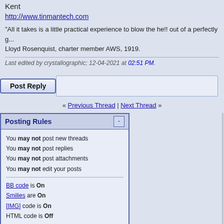Kent
http://www.tinmantech.com
"All it takes is a little practical experience to blow the he!! out of a perfectly g... Lloyd Rosenquist, charter member AWS, 1919.
Last edited by crystallographic; 12-04-2021 at 02:51 PM.
Post Reply
« Previous Thread | Next Thread »
Posting Rules
You may not post new threads
You may not post replies
You may not post attachments
You may not edit your posts
BB code is On
Smilies are On
[IMG] code is On
HTML code is Off
Forum Rules
Forum Jump
Welding Sheet Metal
All times are GMT -5. The time now is 02:09 AM.
Back to the Top